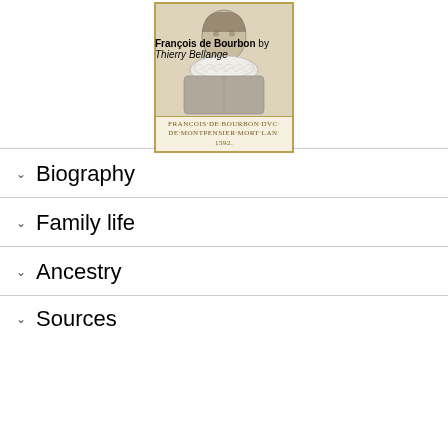[Figure (illustration): Historical portrait drawing of François de Bourbon, Duke of Montpensier, labeled 'FRANCOIS DE BOURBON DVC DE MONTPENSIER MORT LAN 1592']
François de Bourbon by Thierry Bellange
Biography
Family life
Ancestry
Sources